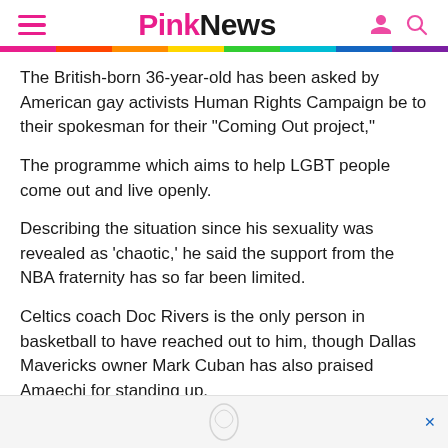PinkNews
The British-born 36-year-old has been asked by American gay activists Human Rights Campaign be to their spokesman for their “Coming Out project,”
The programme which aims to help LGBT people come out and live openly.
Describing the situation since his sexuality was revealed as ‘chaotic,’ he said the support from the NBA fraternity has so far been limited.
Celtics coach Doc Rivers is the only person in basketball to have reached out to him, though Dallas Mavericks owner Mark Cuban has also praised Amaechi for standing up.
[Figure (other): Advertisement banner at the bottom of the page with a close button (x) in blue]